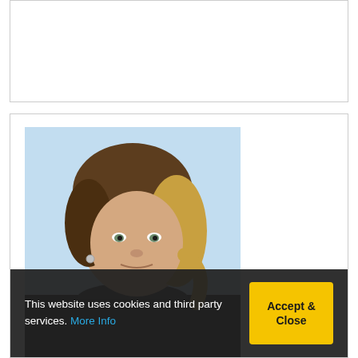[Figure (other): Empty white card/panel with border at top of page]
[Figure (photo): Portrait photo of a blonde woman against a light blue background, wearing black clothing. Lower portion obscured by cookie consent banner.]
This website uses cookies and third party services. More Info
Accept & Close